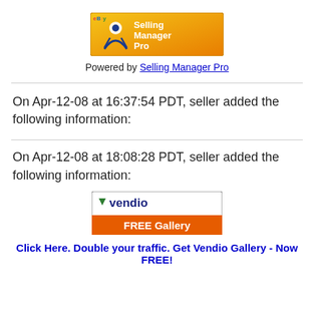[Figure (logo): Selling Manager Pro logo — orange/yellow background with a blue figure and white text reading 'Selling Manager Pro']
Powered by Selling Manager Pro
On Apr-12-08 at 16:37:54 PDT, seller added the following information:
On Apr-12-08 at 18:08:28 PDT, seller added the following information:
[Figure (logo): Vendio FREE Gallery logo — blue Vendio text with green checkmark arrow, orange banner reading FREE Gallery]
Click Here. Double your traffic. Get Vendio Gallery - Now FREE!